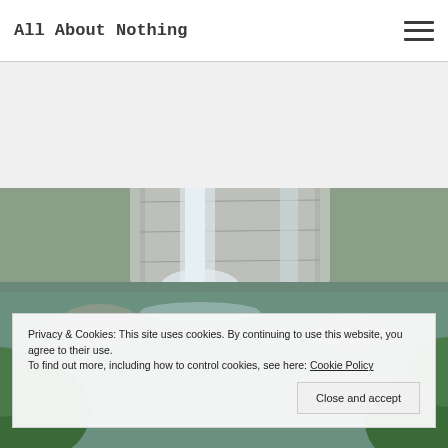All About Nothing
[Figure (photo): Waterfall cascading over rocky limestone ledges surrounded by green trees and foliage]
Privacy & Cookies: This site uses cookies. By continuing to use this website, you agree to their use.
To find out more, including how to control cookies, see here: Cookie Policy
Close and accept